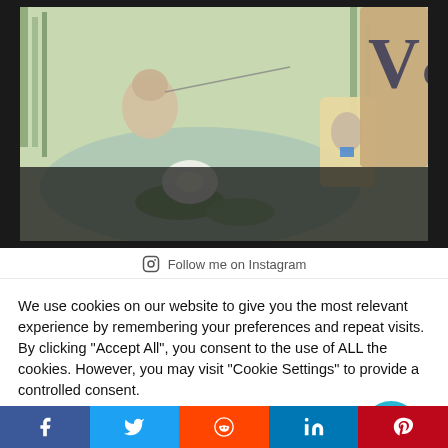[Figure (photo): Photo showing Beatrix Potter illustrated book/puzzle with frog character fishing near water lilies, a small tile with Peter Rabbit figure, on a dark background alongside a V&A branded paper bag]
Follow me on Instagram
We use cookies on our website to give you the most relevant experience by remembering your preferences and repeat visits. By clicking "Accept All", you consent to the use of ALL the cookies. However, you may visit "Cookie Settings" to provide a controlled consent.
Cookie Settings
Accept All